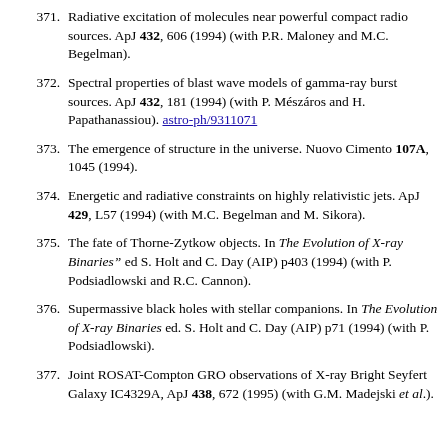371. Radiative excitation of molecules near powerful compact radio sources. ApJ 432, 606 (1994) (with P.R. Maloney and M.C. Begelman).
372. Spectral properties of blast wave models of gamma-ray burst sources. ApJ 432, 181 (1994) (with P. Mészáros and H. Papathanassiou). astro-ph/9311071
373. The emergence of structure in the universe. Nuovo Cimento 107A, 1045 (1994).
374. Energetic and radiative constraints on highly relativistic jets. ApJ 429, L57 (1994) (with M.C. Begelman and M. Sikora).
375. The fate of Thorne-Zytkow objects. In The Evolution of X-ray Binaries" ed S. Holt and C. Day (AIP) p403 (1994) (with P. Podsiadlowski and R.C. Cannon).
376. Supermassive black holes with stellar companions. In The Evolution of X-ray Binaries ed. S. Holt and C. Day (AIP) p71 (1994) (with P. Podsiadlowski).
377. Joint ROSAT-Compton GRO observations of X-ray Bright Seyfert Galaxy IC4329A, ApJ 438, 672 (1995) (with G.M. Madejski et al.).